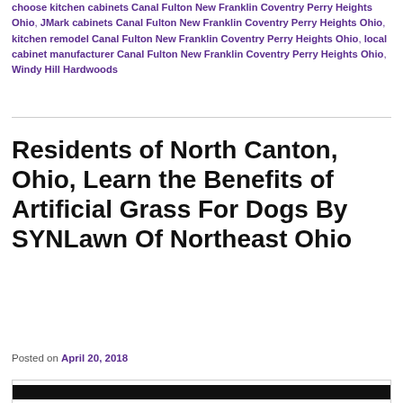choose kitchen cabinets Canal Fulton New Franklin Coventry Perry Heights Ohio, JMark cabinets Canal Fulton New Franklin Coventry Perry Heights Ohio, kitchen remodel Canal Fulton New Franklin Coventry Perry Heights Ohio, local cabinet manufacturer Canal Fulton New Franklin Coventry Perry Heights Ohio, Windy Hill Hardwoods
Residents of North Canton, Ohio, Learn the Benefits of Artificial Grass For Dogs By SYNLawn Of Northeast Ohio
Posted on April 20, 2018
[Figure (photo): Partially visible image at the bottom of the page, showing a dark/black content area]